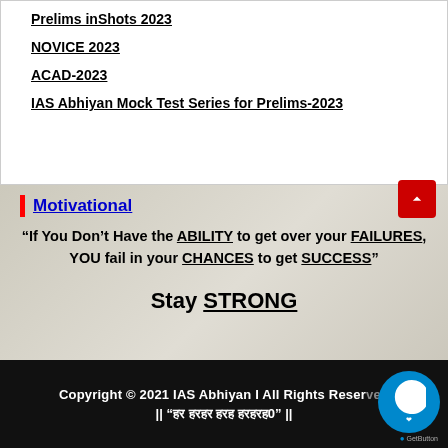Prelims inShots 2023
NOVICE 2023
ACAD-2023
IAS Abhiyan Mock Test Series for Prelims-2023
Motivational
“If You Don’t Have the ABILITY to get over your FAILURES, YOU fail in your CHANCES to get SUCCESS”
Stay STRONG
Copyright © 2021 IAS Abhiyan I All Rights Reserved
|| “हर हर हर हर हर हर” ||